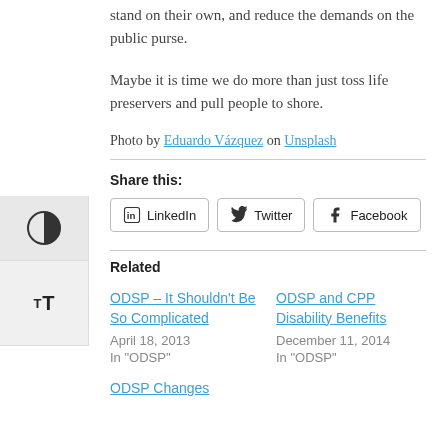stand on their own, and reduce the demands on the public purse.
Maybe it is time we do more than just toss life preservers and pull people to shore.
Photo by Eduardo Vázquez on Unsplash
Share this:
LinkedIn Twitter Facebook
Related
ODSP – It Shouldn't Be So Complicated
April 18, 2013
In "ODSP"
ODSP and CPP Disability Benefits
December 11, 2014
In "ODSP"
ODSP Changes